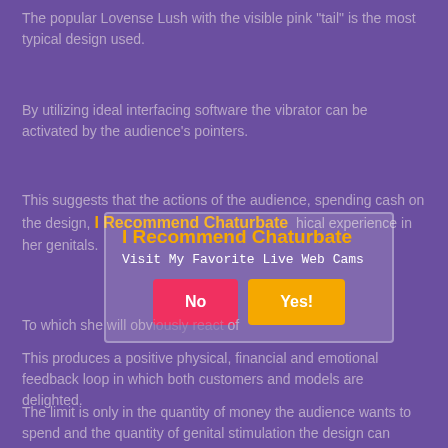The popular Lovense Lush with the visible pink "tail" is the most typical design used.
By utilizing ideal interfacing software the vibrator can be activated by the audience's pointers.
This suggests that the actions of the audience, spending cash on the design, physical experience in her genitals.
[Figure (other): Overlay dialog box with title 'I Recommend Chaturbate', subtitle 'Visit My Favorite Live Web Cams', and two buttons: 'No' (pink) and 'Yes!' (orange)]
To which she will obviously react of
This produces a positive physical, financial and emotional feedback loop in which both customers and models are delighted.
The limit is only in the quantity of money the audience wants to spend and the quantity of genital stimulation the design can withstand. What Is Chaturbate Bio Width And Heigth Dimateions